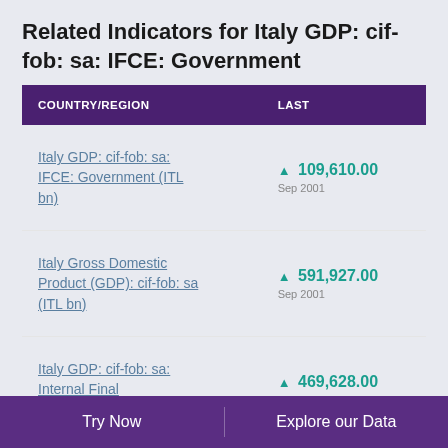Related Indicators for Italy GDP: cif-fob: sa: IFCE: Government
| COUNTRY/REGION | LAST |
| --- | --- |
| Italy GDP: cif-fob: sa: IFCE: Government (ITL bn) | ▲ 109,610.00
Sep 2001 |
| Italy Gross Domestic Product (GDP): cif-fob: sa (ITL bn) | ▲ 591,927.00
Sep 2001 |
| Italy GDP: cif-fob: sa: Internal Final Consumption Expenditure | ▲ 469,628.00
Sep 2001 |
Try Now    Explore our Data